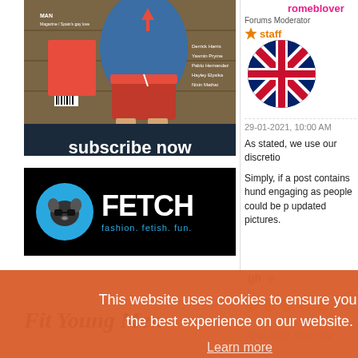[Figure (photo): Magazine subscription advertisement with fitness model image and 'subscribe now' text]
[Figure (logo): FETCH fashion, fetish, fun. advertisement with blue circle logo on black background]
romeblover
Forums Moderator
staff
[Figure (illustration): UK flag in circular format]
29-01-2021, 10:00 AM
As stated, we use our discretio
Simply, if a post contains hund engaging as people could be p updated pictures
gh
ct
06-07-2022, 03:17 PM
This website uses cookies to ensure you get the best experience on our website.
Learn more
Got it!
[Figure (photo): Fit Young Men advertisement text at bottom left]